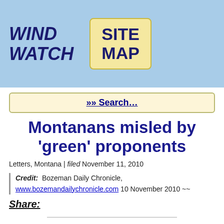WIND WATCH | SITE MAP
»» Search…
Montanans misled by 'green' proponents
Letters, Montana | filed November 11, 2010
Credit: Bozeman Daily Chronicle, www.bozemandailychronicle.com 10 November 2010 ~~
Share:
Wind provides financial payoff to foreign investors, NWE shareholders, out-of-state contractors and politicians.